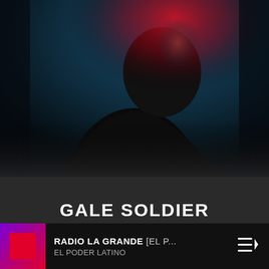[Figure (photo): Dark dramatic photo of a male figure with red light casting shadows across his face, against a dark teal/blue background. The figure wears dark clothing and the composition is moody and atmospheric.]
GALE SOLDIER
BARCELONA [USA]
RADIO LA GRANDE [EL P...
EL PODER LATINO